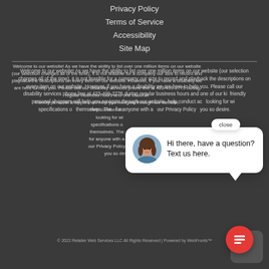Privacy Policy
Terms of Service
Accessibility
Site Map
Welcome to our website! As we have the ability to list over one million items on our website (our selection changes all of the time), it is not feasible for a company our size to record and playback the descriptions on every item on our website. However, if you have a disability we are here to help you. Please call our disability services phone line at 423-499-2775 during regular business hours and one of our kind and friendly personal shoppers will help you navigate through our website, help conduct advanced searches, help you choose the item you are looking for with the specifications you are seeking, read you the specifications of any item and consult with you about the products themselves. There is no charge for the help of this personal shopper for anyone with a disability. Finally, your personal shopper will explain our Privacy Policy and Terms of Service, and help you place an order if you so desire.
[Figure (illustration): Chat popup with avatar photo of a woman with brown hair and text: Hi there, have a question? Text us here. With a close button and a red chat icon button at bottom right.]
© 2022 Retailer Web Services LLC All Rights Reserved | Powered by WebFronts™